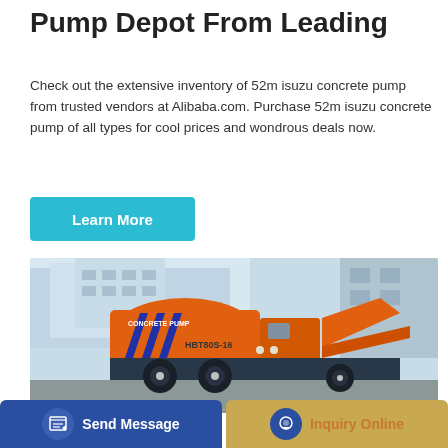Pump Depot From Leading
Check out the extensive inventory of 52m isuzu concrete pump from trusted vendors at Alibaba.com. Purchase 52m isuzu concrete pump of all types for cool prices and wondrous deals now.
[Figure (other): Cyan/teal 'Learn More' button]
[Figure (photo): Orange concrete pump truck (HBT80S-16) parked on pavement in front of a building. The truck is labeled 'CONCRETE PUMP' and has blue chevron stripes on its side.]
[Figure (other): Bottom action bar with two buttons: 'Send Message' (blue background with document icon) and 'Inquiry Online' (tan/gold background with headset icon)]